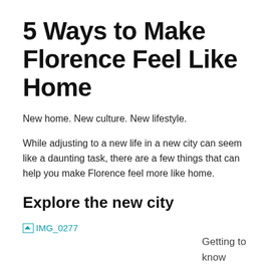5 Ways to Make Florence Feel Like Home
New home. New culture. New lifestyle.
While adjusting to a new life in a new city can seem like a daunting task, there are a few things that can help you make Florence feel more like home.
Explore the new city
[Figure (photo): Broken image placeholder labeled IMG_0277]
Getting to know your new